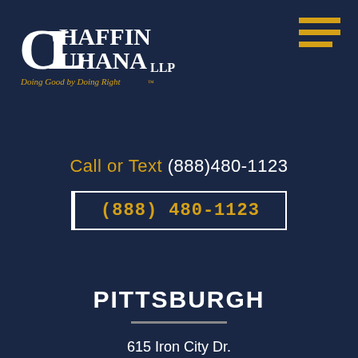[Figure (logo): Chaffin Luhana LLP law firm logo with stylized C and L letters and tagline 'Doing Good by Doing Right']
[Figure (other): Three horizontal gold/yellow bars forming hamburger menu icon in top right corner]
Call or Text (888)480-1123
(888) 480-1123
PITTSBURGH
615 Iron City Dr.
Pittsburgh, PA 15205